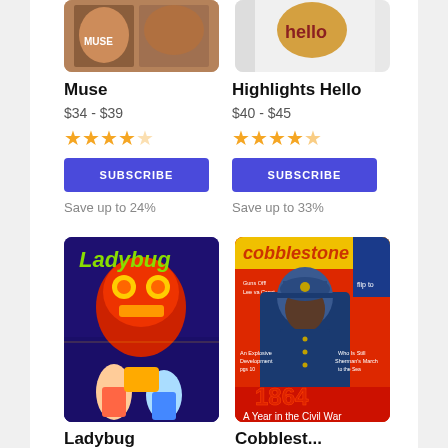[Figure (photo): Muse magazine cover partially visible at top]
Muse
$34 - $39
[Figure (other): 4 out of 5 stars rating for Muse]
SUBSCRIBE
Save up to 24%
[Figure (photo): Highlights Hello magazine cover partially visible at top]
Highlights Hello
$40 - $45
[Figure (other): 4.5 out of 5 stars rating for Highlights Hello]
SUBSCRIBE
Save up to 33%
[Figure (photo): Ladybug magazine cover showing colorful lion dance illustration]
Ladybug
[Figure (photo): Cobblestone magazine cover showing 1864 A Year in the Civil War]
Cobblestone